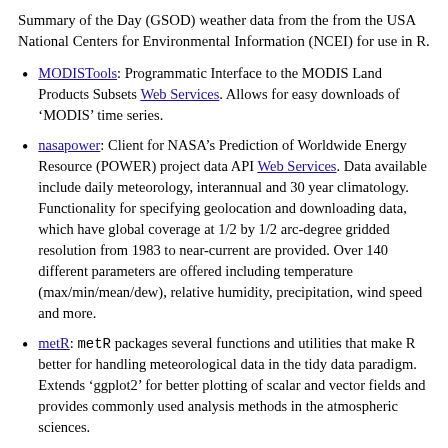Summary of the Day (GSOD) weather data from the from the USA National Centers for Environmental Information (NCEI) for use in R.
MODISTools: Programmatic Interface to the MODIS Land Products Subsets Web Services. Allows for easy downloads of ‘MODIS’ time series.
nasapower: Client for NASA’s Prediction of Worldwide Energy Resource (POWER) project data API Web Services. Data available include daily meteorology, interannual and 30 year climatology. Functionality for specifying geolocation and downloading data, which have global coverage at 1/2 by 1/2 arc-degree gridded resolution from 1983 to near-current are provided. Over 140 different parameters are offered including temperature (max/min/mean/dew), relative humidity, precipitation, wind speed and more.
metR: metR packages several functions and utilities that make R better for handling meteorological data in the tidy data paradigm. Extends ‘ggplot2’ for better plotting of scalar and vector fields and provides commonly used analysis methods in the atmospheric sciences.
prism: This package allows users to access and visualize data from the Oregon State PRISM project. Data available...